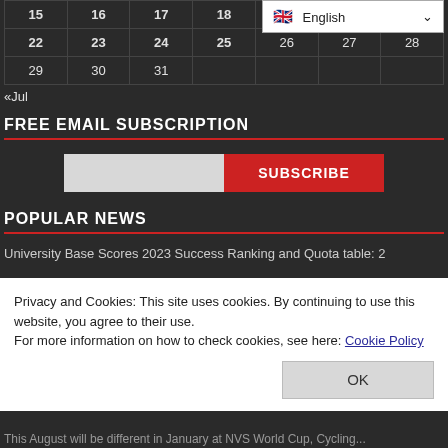| 15 | 16 | 17 | 18 |  |  |  |
| --- | --- | --- | --- | --- | --- | --- |
| 22 | 23 | 24 | 25 | 26 | 27 | 28 |
| 29 | 30 | 31 |  |  |  |  |
«Jul
FREE EMAIL SUBSCRIPTION
[Figure (other): Email subscription input field and subscribe button]
POPULAR NEWS
University Base Scores 2023 Success Ranking and Quota table: 2
Privacy and Cookies: This site uses cookies. By continuing to use this website, you agree to their use.
For more information on how to check cookies, see here: Cookie Policy
OK
This August will be different in January at NVS World Cup, Cycling...